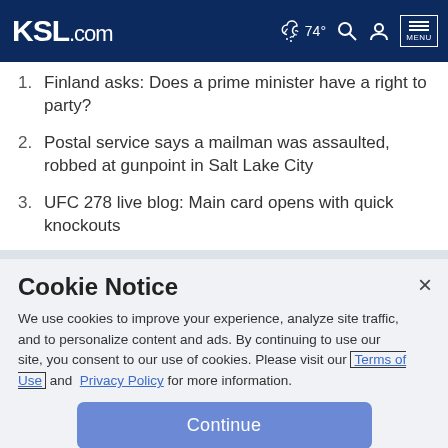KSL.com | 74° | MENU
Finland asks: Does a prime minister have a right to party?
Postal service says a mailman was assaulted, robbed at gunpoint in Salt Lake City
UFC 278 live blog: Main card opens with quick knockouts
Cookie Notice
We use cookies to improve your experience, analyze site traffic, and to personalize content and ads. By continuing to use our site, you consent to our use of cookies. Please visit our Terms of Use and  Privacy Policy for more information.
Continue